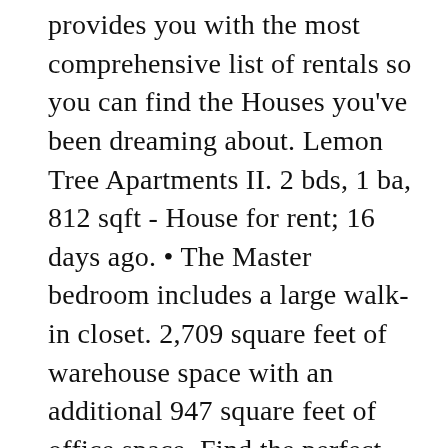provides you with the most comprehensive list of rentals so you can find the Houses you've been dreaming about. Lemon Tree Apartments II. 2 bds, 1 ba, 812 sqft - House for rent; 16 days ago. • The Master bedroom includes a large walk-in closet. 2,709 square feet of warehouse space with an additional 947 square feet of office space. Find the perfect Avon Park home at ForRentByOwner.com: view photos, pricing, amenities and more for free. There are 123 real estate listings found in Avon Park, FL.View our Avon Park real estate area information to learn about the weather, local school districts, demographic data, and general information about Avon Park, FL. Avon Park workers earn